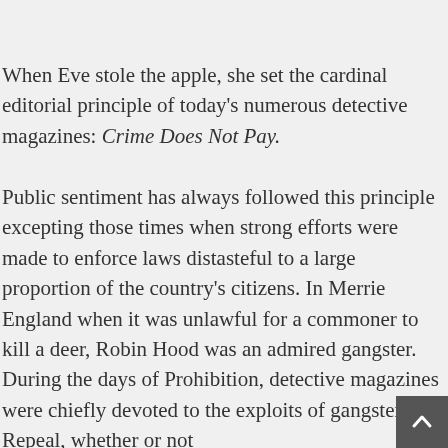When Eve stole the apple, she set the cardinal editorial principle of today's numerous detective magazines: Crime Does Not Pay.

Public sentiment has always followed this principle excepting those times when strong efforts were made to enforce laws distasteful to a large proportion of the country's citizens. In Merrie England when it was unlawful for a commoner to kill a deer, Robin Hood was an admired gangster. During the days of Prohibition, detective magazines were chiefly devoted to the exploits of gangsters. Repeal, whether or not